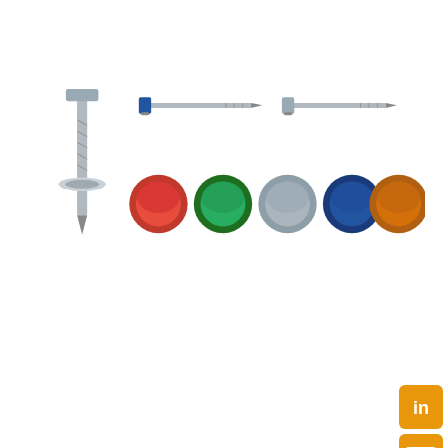[Figure (photo): Color-painted roofing/hex-head self-drilling screws: three screws shown horizontally at top (one with blue hex head, one with gray hex head, one large gray screw on left pointing down), and five colored screw heads shown in a row below (red, green, gray, blue, orange)]
We also offer color-painted Roofing Screws. If you're interested in our products, please contact:https://www.tjlituo.com/product/hex-head-self-drilling-screw/